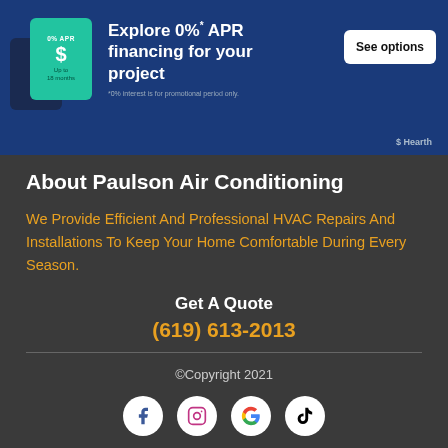[Figure (infographic): Hearth financing banner ad: 0% APR financing for your project, up to 18 months, See options button, Hearth logo]
About Paulson Air Conditioning
We Provide Efficient And Professional HVAC Repairs And Installations To Keep Your Home Comfortable During Every Season.
Get A Quote
(619) 613-2013
©Copyright 2021